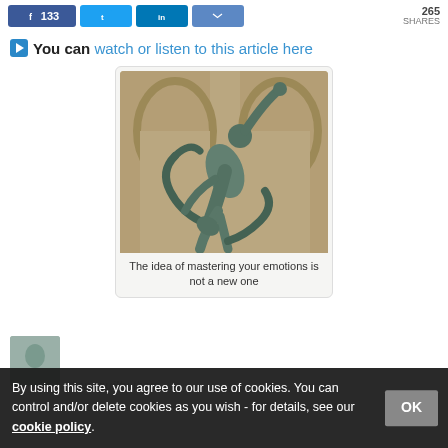133 SHARES (share buttons: Facebook 133, Twitter, LinkedIn, Email)
▶ You can watch or listen to this article here
[Figure (photo): Bronze statue of a figure wrestling or grappling with serpents, set against stone arched architectural backdrop (Louvre-style museum). Caption: The idea of mastering your emotions is not a new one]
The idea of mastering your emotions is not a new one
By using this site, you agree to our use of cookies. You can control and/or delete cookies as you wish - for details, see our cookie policy.  OK